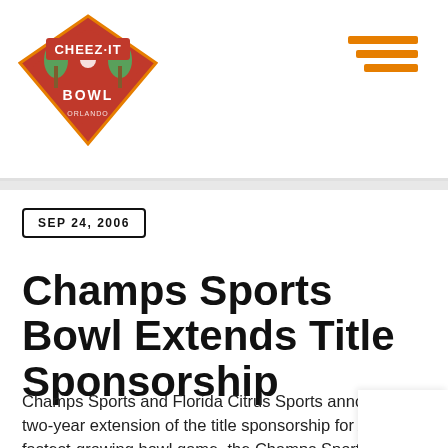[Figure (logo): Cheez-It Bowl logo — diamond shaped badge with red Cheez-It branding, palm trees, and orange/red colors]
[Figure (illustration): Hamburger menu icon — three horizontal orange lines stacked]
SEP 24, 2006
Champs Sports Bowl Extends Title Sponsorship
Champs Sports and Florida Citrus Sports announced a two-year extension of the title sponsorship for America's fastest-growing bowl game, the Champs Sports Bowl. The extension...